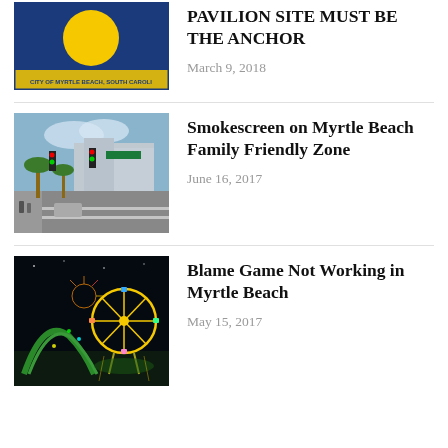[Figure (photo): City of Myrtle Beach South Carolina logo/seal with blue background and yellow sun]
PAVILION SITE MUST BE THE ANCHOR
March 9, 2018
[Figure (photo): Street view of Myrtle Beach boulevard with traffic lights, palm trees, and storefronts]
Smokescreen on Myrtle Beach Family Friendly Zone
June 16, 2017
[Figure (photo): Night time image of Myrtle Beach amusement park with Ferris wheel and colorful lights reflected on water]
Blame Game Not Working in Myrtle Beach
May 15, 2017